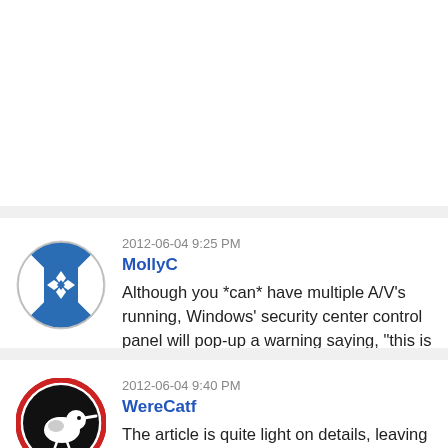configuration. Apparently Microsoft had to throw them a bone — which is to permit them to continue loading down Windows 8 with trialware.
2012-06-04 9:25 PM
MollyC
Although you *can* have multiple A/V's running, Windows' security center control panel will pop-up a warning saying, "this is bad" (not the exact wording lol), because two A/V's running at the same time will step on each other's feet, get in each other's way, and degrade system performance.
2012-06-04 9:40 PM
WereCatf
The article is quite light on details, leaving me wondering if these 3rd party AVs must be somehow signed by Microsoft for